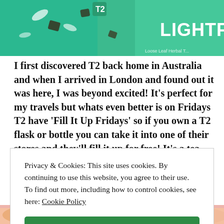[Figure (photo): Product photo showing T2 tea packaging with green background and the word LIGHTFUL visible, along with decorative elements like coconut flakes]
I first discovered T2 back home in Australia and when I arrived in London and found out it was here, I was beyond excited! It's perfect for my travels but whats even better is on Fridays T2 have 'Fill It Up Fridays' so if you own a T2 flask or bottle you can take it into one of their stores and they'll fill it up for free! It's a tea
Privacy & Cookies: This site uses cookies. By continuing to use this website, you agree to their use.
To find out more, including how to control cookies, see here: Cookie Policy
Close and accept
[Figure (photo): Bottom strip showing colorful baked goods or pastries with pink and orange tones]